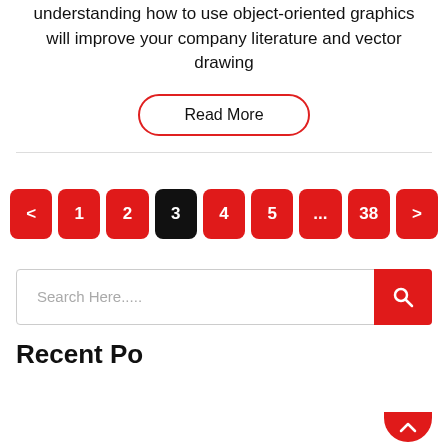understanding how to use object-oriented graphics will improve your company literature and vector drawing
Read More
< 1 2 3 4 5 ... 38 >
Search Here.....
Recent Posts